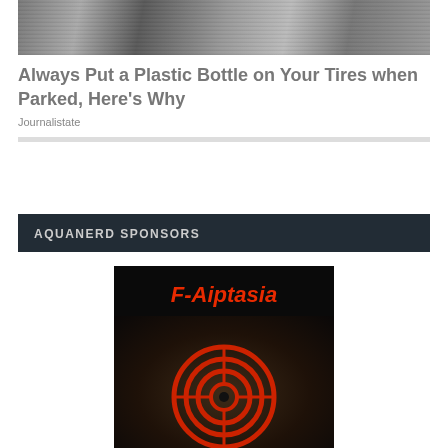[Figure (photo): Top banner photo, partially visible, appears to be a nature or outdoor scene in grayscale/muted tones]
Always Put a Plastic Bottle on Your Tires when Parked, Here's Why
Journalistate
AQUANERD SPONSORS
[Figure (illustration): F-Aiptasia sponsor advertisement image: black background with red italic bold text 'F-Aiptasia' at top, and a red bullseye/target crosshair graphic overlaid on an underwater sea creature image]